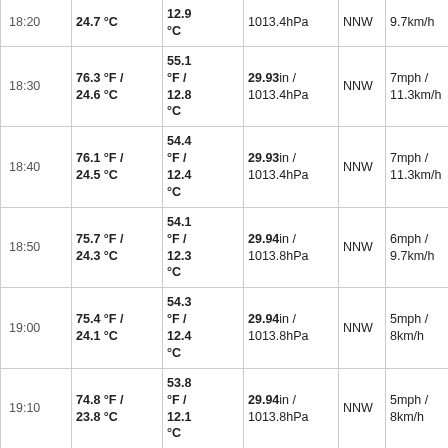| Time | Temp | Dew Point | Pressure | Dir | Wind | Extra |
| --- | --- | --- | --- | --- | --- | --- |
| (18:20) | 24.7 °C | 12.9 °C | 1013.4hPa | NNW | 9.7km/h |  |
| 18:30 | 76.3 °F / 24.6 °C | 55.1 °F / 12.8 °C | 29.93in / 1013.4hPa | NNW | 7mph / 11.3km/h | 1 |
| 18:40 | 76.1 °F / 24.5 °C | 54.4 °F / 12.4 °C | 29.93in / 1013.4hPa | NNW | 7mph / 11.3km/h | 1 |
| 18:50 | 75.7 °F / 24.3 °C | 54.1 °F / 12.3 °C | 29.94in / 1013.8hPa | NNW | 6mph / 9.7km/h | 9 |
| 19:00 | 75.4 °F / 24.1 °C | 54.3 °F / 12.4 °C | 29.94in / 1013.8hPa | NNW | 5mph / 8km/h | 1 |
| 19:10 | 74.8 °F / 23.8 °C | 53.8 °F / 12.1 °C | 29.94in / 1013.8hPa | NNW | 5mph / 8km/h | 1 |